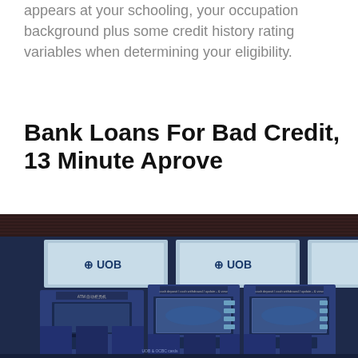appears at your schooling, your occupation background plus some credit history rating variables when determining your eligibility.
Bank Loans For Bad Credit, 13 Minute Aprove
[Figure (photo): Photo of a row of UOB bank ATM machines in blue and grey, with UOB branding screens displayed above, set in what appears to be a banking hall or transit station.]